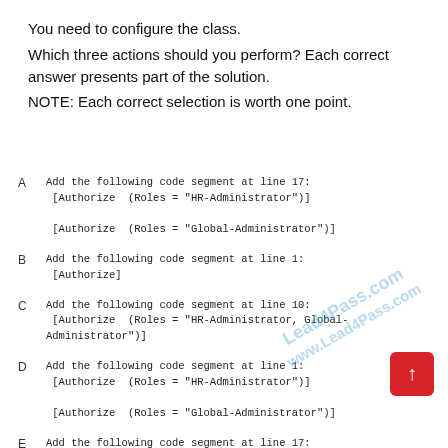You need to configure the class.
Which three actions should you perform? Each correct answer presents part of the solution.
NOTE: Each correct selection is worth one point.
A   Add the following code segment at line 17:
    [Authorize (Roles = "HR-Administrator")]

    [Authorize (Roles = "Global-Administrator")]
B   Add the following code segment at line 1:
    [Authorize]
C   Add the following code segment at line 10:
    [Authorize (Roles = "HR-Administrator, Global-Administrator")]
D   Add the following code segment at line 1:
    [Authorize (Roles = "HR-Administrator")]

    [Authorize (Roles = "Global-Administrator")]
E   Add the following code segment at line 17:
    [Authorize (Roles = "HR-Administrator, Global-Administ
F   Add the following code segment at line 10: